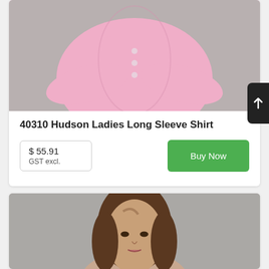[Figure (photo): Photo of a woman wearing a pink long sleeve button-up shirt, arms crossed, against a gray background. Only torso and arms visible.]
40310 Hudson Ladies Long Sleeve Shirt
$ 55.91
GST excl.
[Figure (photo): Photo of a woman with long brown hair, facing forward, against a gray background. Head and upper shoulders visible.]